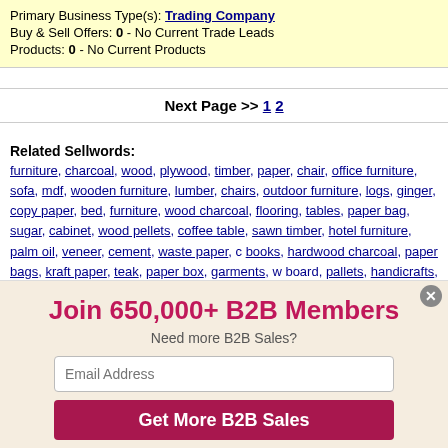Primary Business Type(s): Trading Company
Buy & Sell Offers: 0 - No Current Trade Leads
Products: 0 - No Current Products
Next Page >> 1 2
Related Sellwords: furniture, charcoal, wood, plywood, timber, paper, chair, office furniture, sofa, mdf, wooden furniture, lumber, chairs, outdoor furniture, logs, ginger, copy paper, bed, furniture, wood charcoal, flooring, tables, paper bag, sugar, cabinet, wood pellets, coffee table, sawn timber, hotel furniture, palm oil, veneer, cement, waste paper, c, books, hardwood charcoal, paper bags, kraft paper, teak, paper box, garments, w, board, pallets, handicrafts, wood chips, cocoa, art paper, garlic, rattan furniture, ch
Join 650,000+ B2B Members
Need more B2B Sales?
Email Address
Get More B2B Sales